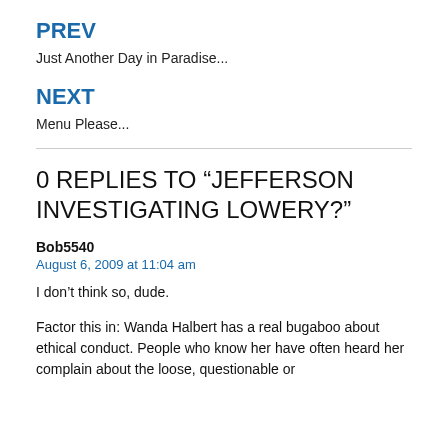PREV
Just Another Day in Paradise...
NEXT
Menu Please...
0 REPLIES TO “JEFFERSON INVESTIGATING LOWERY?”
Bob5540
August 6, 2009 at 11:04 am
I don’t think so, dude.
Factor this in: Wanda Halbert has a real bugaboo about ethical conduct. People who know her have often heard her complain about the loose, questionable or